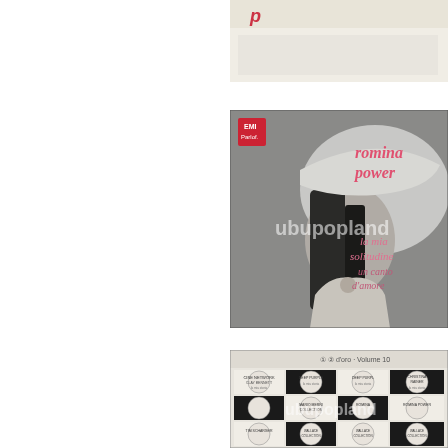[Figure (photo): Partial view of a vinyl record album cover (top portion), white background with red text partially visible at top]
[Figure (photo): Romina Power vinyl single album cover 'la mia solitudine un canto d'amore' - black and white photo of young woman with large hat and long dark hair, pink italic text overlay, watermark 'ubupopland', small red label in top-left corner]
[Figure (photo): Vinyl record compilation album back cover showing a checkerboard grid layout with circular record labels, black and white design with artist names in circles including CLAY BENNETT, DEEP PURPLE, DEEP PURPLE, ROMINA POWER, etc., watermark 'ubupopland']